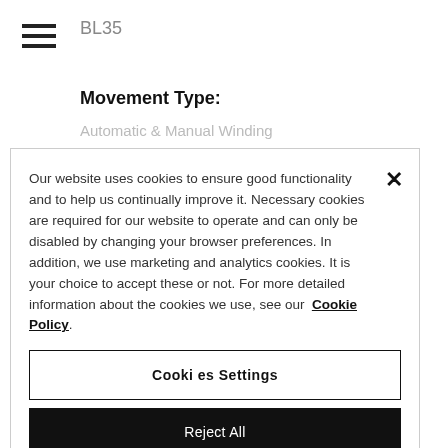BL35
Movement Type:
Automatic & Manual Winding
Our website uses cookies to ensure good functionality and to help us continually improve it. Necessary cookies are required for our website to operate and can only be disabled by changing your browser preferences. In addition, we use marketing and analytics cookies. It is your choice to accept these or not. For more detailed information about the cookies we use, see our Cookie Policy.
Cookies Settings
Reject All
Accept All